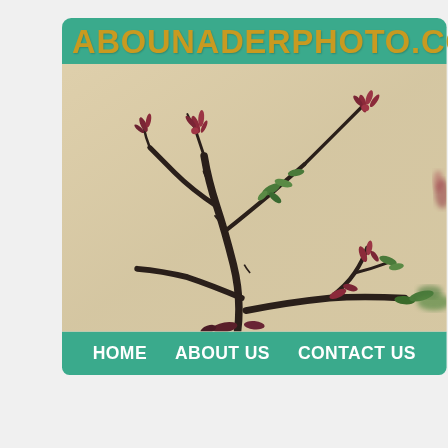ABOUNADERPHOTO.COM
[Figure (photo): Close-up photograph of a bonsai or ornamental plant with dark branches and small red-purple and green new leaves sprouting, set against a beige/cream background wall.]
HOME    ABOUT US    CONTACT US